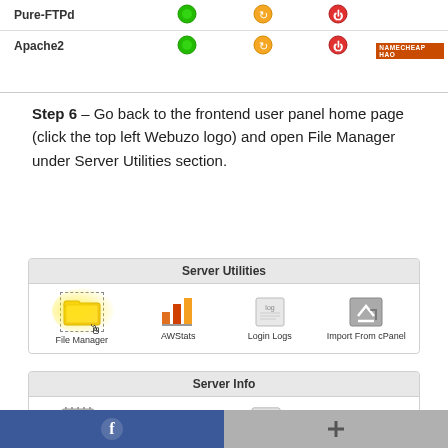[Figure (screenshot): Table rows showing Pure-FTPd and Apache2 services with green/orange/red status icons and a watermark label]
Step 6 – Go back to the frontend user panel home page (click the top left Webuzo logo) and open File Manager under Server Utilities section.
[Figure (screenshot): Server Utilities panel showing File Manager (highlighted with cursor), AWStats, Login Logs, Import From cPanel icons]
[Figure (screenshot): Server Info panel showing CPU, RAM, Disk, Bandwidth icons]
[Figure (screenshot): Scripts panel showing play button, star, box, and another icon]
[Figure (screenshot): Bottom navigation bar with Facebook icon on left (blue) and plus icon on right (gray)]